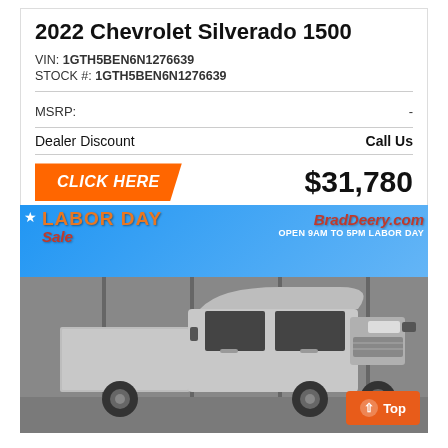2022 Chevrolet Silverado 1500
VIN: 1GTH5BEN6N1276639
STOCK #: 1GTH5BEN6N1276639
| MSRP: | - |
| Dealer Discount | Call Us |
CLICK HERE  $31,780
[Figure (photo): Silver 2022 Chevrolet Silverado 1500 pickup truck photographed in a dealership showroom with a Labor Day Sale banner. Banner shows BradDeery.com and OPEN 9AM TO 5PM LABOR DAY text.]